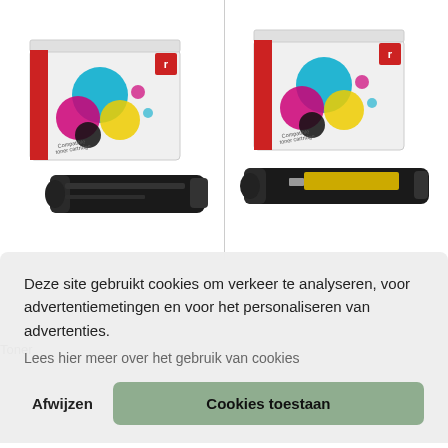[Figure (photo): Two compatible toner cartridge product boxes with toner cartridges displayed in front. Left: black toner cartridge with a box featuring colorful circles (cyan, magenta, yellow, black). Right: yellow toner cartridge with a similar box. Both boxes branded with a red logo and labeled 'Compatible toner cartridge'.]
Toner
Deze site gebruikt cookies om verkeer te analyseren, voor advertentiemetingen en voor het personaliseren van advertenties.
Lees hier meer over het gebruik van cookies
Afwijzen
Cookies toestaan